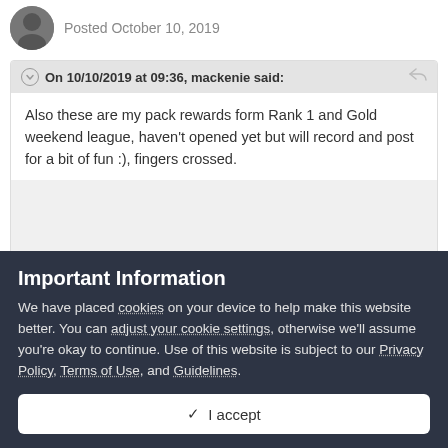Posted October 10, 2019
On 10/10/2019 at 09:36, mackenie said:
Also these are my pack rewards form Rank 1 and Gold weekend league, haven't opened yet but will record and post for a bit of fun :), fingers crossed.
Important Information
We have placed cookies on your device to help make this website better. You can adjust your cookie settings, otherwise we'll assume you're okay to continue. Use of this website is subject to our Privacy Policy, Terms of Use, and Guidelines.
I accept